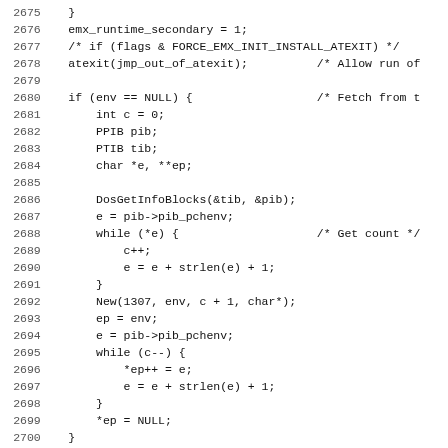[Figure (screenshot): Source code listing showing C code lines 2675-2706, with line numbers on the left and monospace code on the right. The code shows environment variable handling using OS/2 API calls including DosGetInfoBlocks, strlen, and related logic, ending with a #define ENTRY_POINT and static int declaration.]